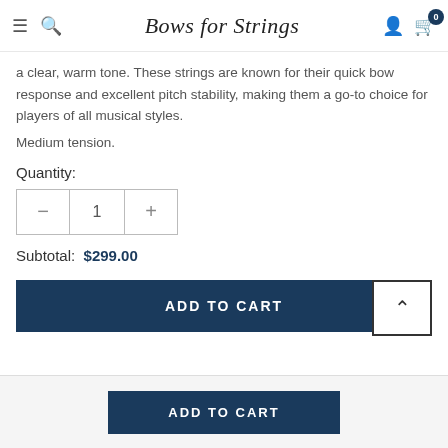Bows for Strings
a clear, warm tone. These strings are known for their quick bow response and excellent pitch stability, making them a go-to choice for players of all musical styles.
Medium tension.
Quantity:
Subtotal:  $299.00
ADD TO CART
ADD TO CART